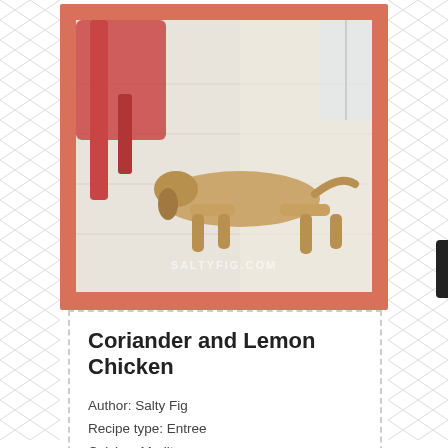[Figure (photo): A dog lying on white wooden floor planks next to a red chair, with light coming through. Watermark reads SALTYFIG.COM. Photo has a salmon/coral colored border/frame.]
Coriander and Lemon Chicken
Author: Salty Fig
Recipe type: Entree
Cuisine: Mediterranean
Yield: 8